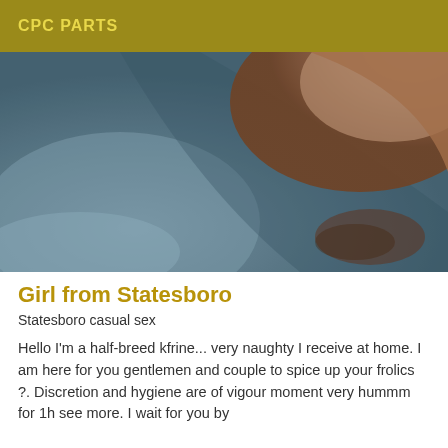CPC PARTS
[Figure (photo): Close-up photo with blurred background in muted blue and brown tones]
Girl from Statesboro
Statesboro casual sex
Hello I'm a half-breed kfrine... very naughty I receive at home. I am here for you gentlemen and couple to spice up your frolics ?. Discretion and hygiene are of vigour moment very hummm for 1h see more. I wait for you by